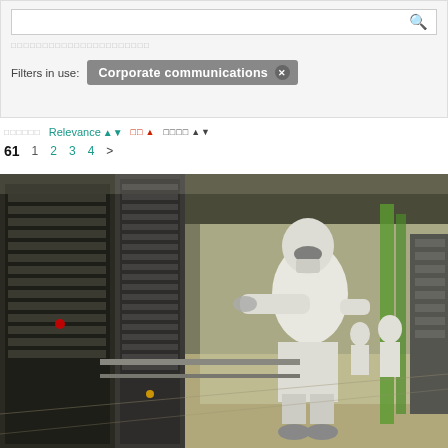Filters in use: Corporate communications ×
61  Relevance ↕  □□ ▲  □□□□ ↕
1  2  3  4  >
[Figure (photo): Workers in white cleanroom suits working on semiconductor manufacturing equipment inside a cleanroom facility. Tall rack-mounted equipment lines the left side; the corridor extends into the background with more workers visible.]